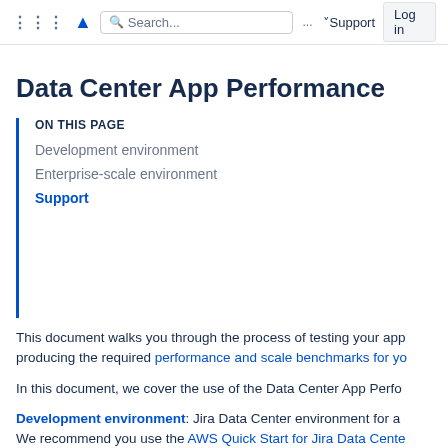Search... ...Support Log in
Data Center App Performance
ON THIS PAGE
Development environment
Enterprise-scale environment
Support
This document walks you through the process of testing your app producing the required performance and scale benchmarks for yo
In this document, we cover the use of the Data Center App Perfo
Development environment: Jira Data Center environment for a We recommend you use the AWS Quick Start for Jira Data Cente